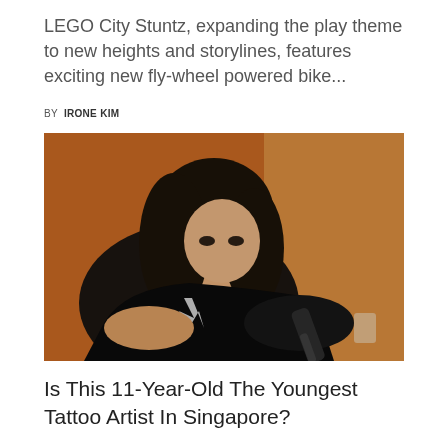LEGO City Stuntz, expanding the play theme to new heights and storylines, features exciting new fly-wheel powered bike...
BY  IRONE KIM
[Figure (photo): Young Asian girl wearing a black t-shirt concentrating while performing a tattoo, wearing black gloves, holding a tattoo machine. Warm brown background.]
Is This 11-Year-Old The Youngest Tattoo Artist In Singapore?